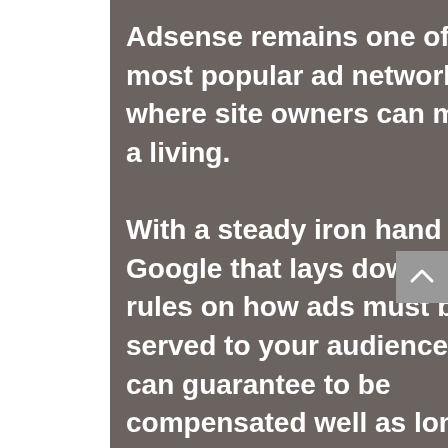Adsense remains one of the most popular ad networks where site owners can make a living. With a steady iron hand in Google that lays down the rules on how ads must be served to your audience, you can guarantee to be compensated well as long you continue to provide value to your visitors with your site.